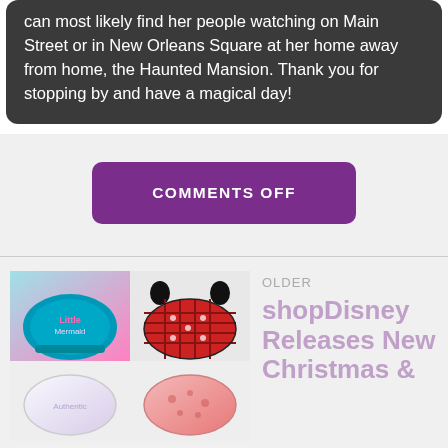can most likely find her people watching on Main Street or in New Orleans Square at her home away from home, the Haunted Mansion. Thank you for stopping by and have a magical day!
COMMENTS OFF
OLDER
[Figure (photo): Four face masks in a 2x2 grid: top-left is a Little Mermaid themed mask in teal/pink, top-right is a red plaid Mickey Mouse mask, bottom-left is a white/lavender mask, bottom-right is a pink patterned mask]
shopDisney Releases New Christmas &